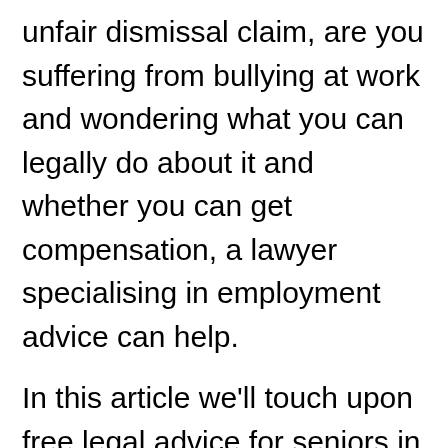unfair dismissal claim, are you suffering from bullying at work and wondering what you can legally do about it and whether you can get compensation, a lawyer specialising in employment advice can help.
In this article we'll touch upon free legal advice for seniors in tring and free legal advice about work together with free legal